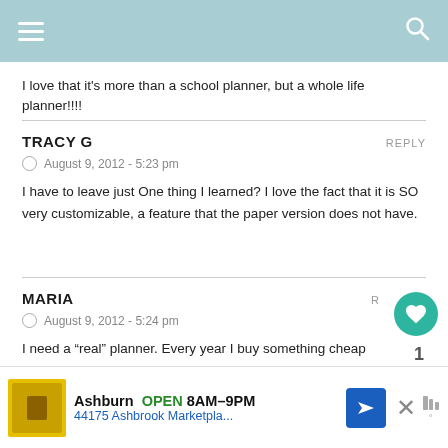Navigation header bar with hamburger menu and search icon
I love that it’s more than a school planner, but a whole life planner!!!!
TRACY G
August 9, 2012 - 5:23 pm
I have to leave just One thing I learned? I love the fact that it is SO very customizable, a feature that the paper version does not have.
MARIA
August 9, 2012 - 5:24 pm
I need a “real” planner. Every year I buy something cheap and won’t why I hate it. I still can’t decide between a pencil/paper version (less cu... y all the...